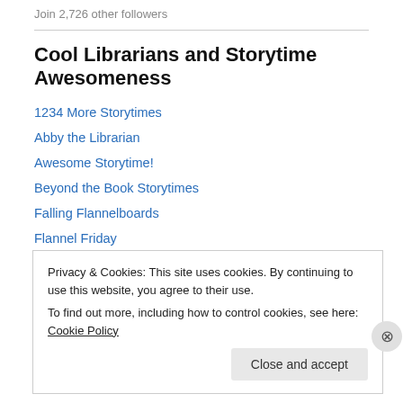Join 2,726 other followers
Cool Librarians and Storytime Awesomeness
1234 More Storytimes
Abby the Librarian
Awesome Storytime!
Beyond the Book Storytimes
Falling Flannelboards
Flannel Friday
Future Librarian Superhero
Privacy & Cookies: This site uses cookies. By continuing to use this website, you agree to their use.
To find out more, including how to control cookies, see here: Cookie Policy
Close and accept